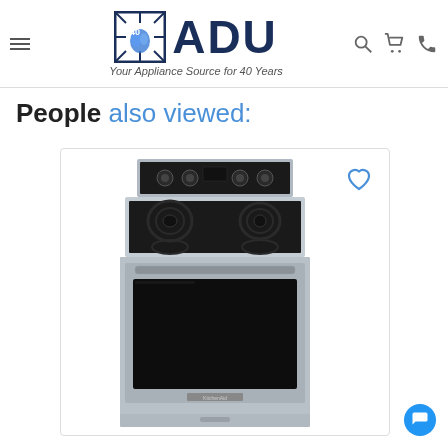ADU - Your Appliance Source for 40 Years
People also viewed:
[Figure (photo): Stainless steel electric range/oven appliance (KitchenAid brand) with smooth cooktop surface showing 4 burner elements, black glass oven door, stainless steel body, and a wish-list heart icon in the upper right of the card.]